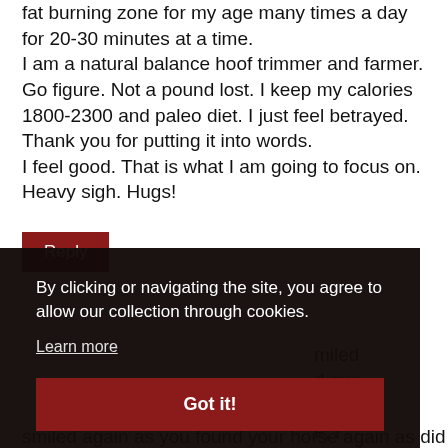fat burning zone for my age many times a day for 20-30 minutes at a time. I am a natural balance hoof trimmer and farmer. Go figure. Not a pound lost. I keep my calories 1800-2300 and paleo diet. I just feel betrayed. Thank you for putting it into words. I feel good. That is what I am going to focus on. Heavy sigh. Hugs!
Reply
By clicking or navigating the site, you agree to allow our collection through cookies.
Learn more
Got it!
miled d my lt e, I smiled again as you found your horse again as did